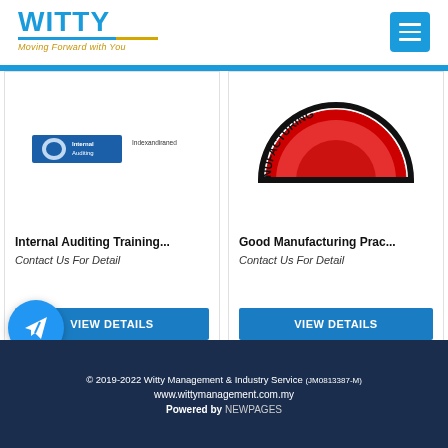WITTY — Moving Forward with You
[Figure (logo): Internal Auditing Training company logo — blue rectangle with shield icon and text]
Internal Auditing Training...
Contact Us For Detail
[Figure (logo): Good Manufacturing Practice logo — red semicircle with text MANUFACTURING around the arc, black border]
Good Manufacturing Prac...
Contact Us For Detail
© 2019-2022 Witty Management & Industry Service (JM0813387-M) www.wittymanagement.com.my Powered by NEWPAGES